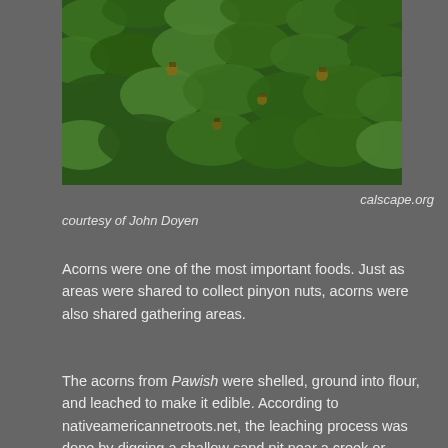[Figure (photo): Close-up photograph of green leaves and acorns on a shrub (Pawish oak), showing dense foliage with small round acorns visible among the leaves.]
calscape.org courtesy of John Doyen
Acorns were one of the most important foods. Just as areas were shared to collect pinyon nuts, acorns were also shared gathering areas.
The acorns from Pawish were shelled, ground into flour, and leached to make it edible. According to nativeamericannetroots.net, the leaching process was done by digging a shallow sand pit near a creek or stream. The flour was then spread in the bottom of the pit and water was continuously poured over it until it was sweet. This could take several hours. After leaching